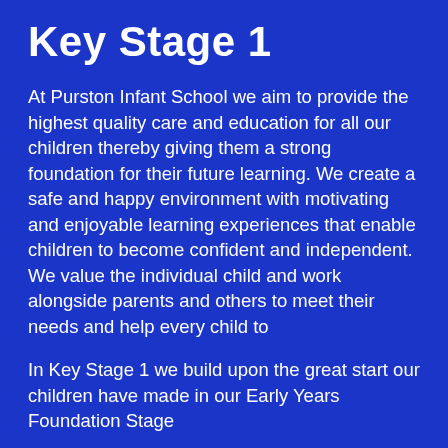Key Stage 1
At Purston Infant School we aim to provide the highest quality care and education for all our children thereby giving them a strong foundation for their future learning. We create a safe and happy environment with motivating and enjoyable learning experiences that enable children to become confident and independent. We value the individual child and work alongside parents and others to meet their needs and help every child to
In Key Stage 1 we build upon the great start our children have made in our Early Years Foundation Stage
We are committed to helping our children become independent, life-long learners with the knowledge and skills they need in all subjects. We are developing a progressive curriculum with opportunities for the children to learn and excel in